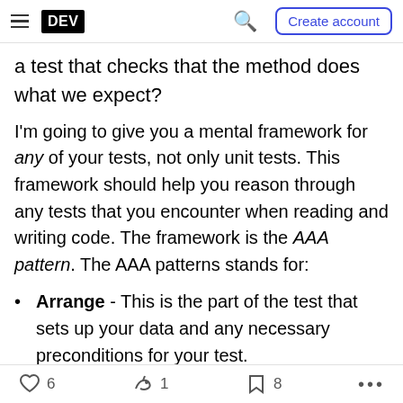DEV | Create account
a test that checks that the method does what we expect?
I'm going to give you a mental framework for any of your tests, not only unit tests. This framework should help you reason through any tests that you encounter when reading and writing code. The framework is the AAA pattern. The AAA patterns stands for:
Arrange - This is the part of the test that sets up your data and any necessary preconditions for your test.
Act - This stage is when your test runs the
6  1  8  ...